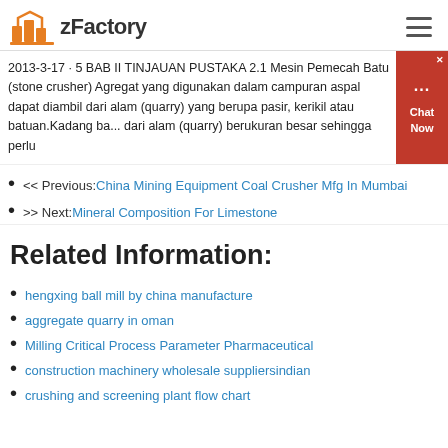zFactory
2013-3-17 · 5 BAB II TINJAUAN PUSTAKA 2.1 Mesin Pemecah Batu (stone crusher) Agregat yang digunakan dalam campuran aspal dapat diambil dari alam (quarry) yang berupa pasir, kerikil atau batuan.Kadang ba... dari alam (quarry) berukuran besar sehingga perlu
<< Previous: China Mining Equipment Coal Crusher Mfg In Mumbai
>> Next: Mineral Composition For Limestone
Related Information:
hengxing ball mill by china manufacture
aggregate quarry in oman
Milling Critical Process Parameter Pharmaceutical
construction machinery wholesale suppliersindian
crushing and screening plant flow chart